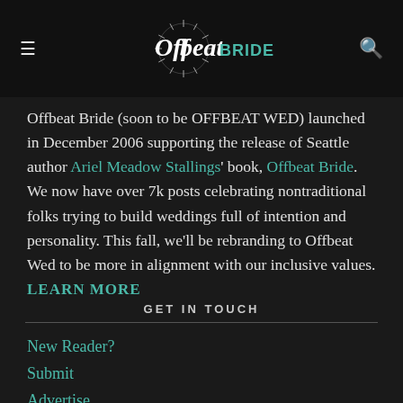Offbeat Bride
Offbeat Bride (soon to be OFFBEAT WED) launched in December 2006 supporting the release of Seattle author Ariel Meadow Stallings' book, Offbeat Bride. We now have over 7k posts celebrating nontraditional folks trying to build weddings full of intention and personality. This fall, we'll be rebranding to Offbeat Wed to be more in alignment with our inclusive values. LEARN MORE
GET IN TOUCH
New Reader?
Submit
Advertise
Contact